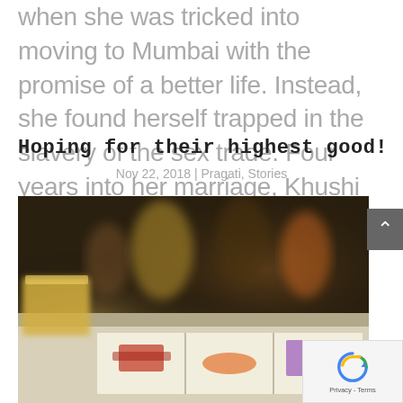when she was tricked into moving to Mumbai with the promise of a better life. Instead, she found herself trapped in the slavery of the sex trade. Four years into her marriage, Khushi was...
Hoping for their highest good!
Nov 22, 2018 | Pragati, Stories
[Figure (photo): A blurry photograph showing people seated around a table with learning/activity cards laid out on the table surface. A glass jar is visible at the left side. People are blurred in the background.]